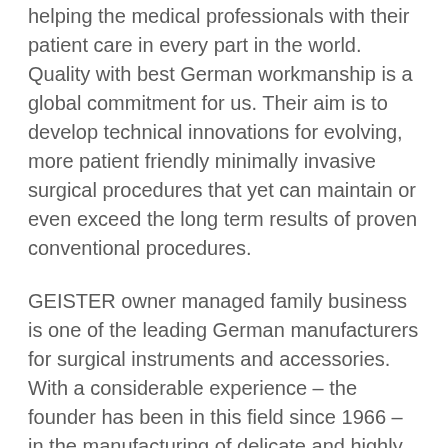helping the medical professionals with their patient care in every part in the world. Quality with best German workmanship is a global commitment for us. Their aim is to develop technical innovations for evolving, more patient friendly minimally invasive surgical procedures that yet can maintain or even exceed the long term results of proven conventional procedures.
GEISTER owner managed family business is one of the leading German manufacturers for surgical instruments and accessories. With a considerable experience – the founder has been in this field since 1966 – in the manufacturing of delicate and highly precise surgical instrumentation, GEISTER supply a range of more than 9000 quality products for operative surgery, distributed in more than 70 countries worldwide. Purpose-oriented innovation, skilled craftsmenship and tradition, technological competence and